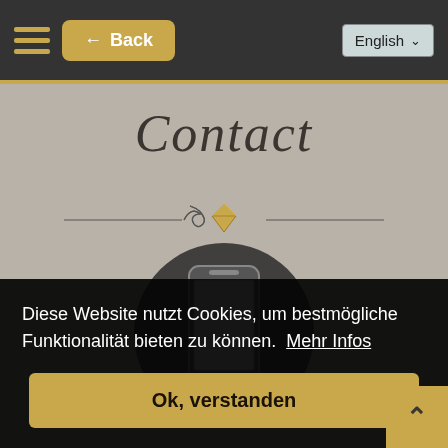← Back  English
Contact
[Figure (illustration): Decorative ornamental divider with a golden diamond/gem icon in the center flanked by scroll flourishes and horizontal lines]
[Figure (illustration): A smartphone icon inside a dark circle, shown on a grayish background with faint hands/jewelry in the background]
Diese Website nutzt Cookies, um bestmögliche Funktionalität bieten zu können.  Mehr Infos
Ok, verstanden